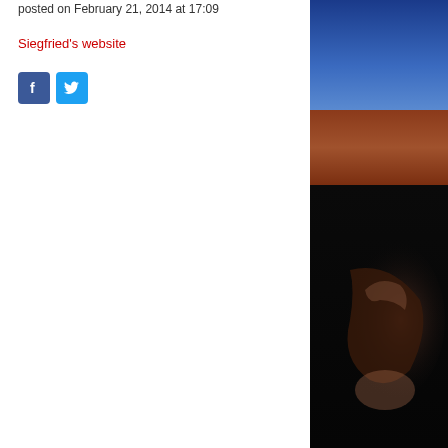posted on February 21, 2014 at 17:09
Siegfried's website
[Figure (photo): Partial view of a dark oil painting showing a figure against a landscape with blue sky at top, a brownish-red earth band in the middle, and dark foreground with a shadowy figure visible at lower right.]